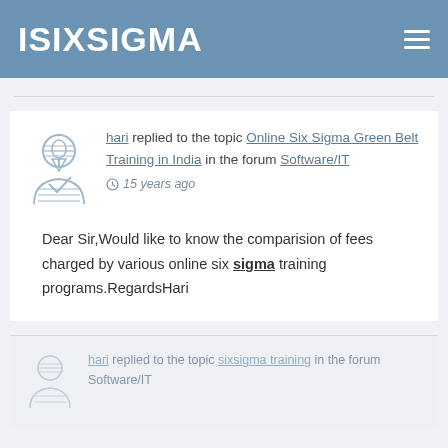ISIXSIGMA
hari replied to the topic Online Six Sigma Green Belt Training in India in the forum Software/IT
15 years ago
Dear Sir,Would like to know the comparision of fees charged by various online six sigma training programs.RegardsHari
hari replied to the topic sixsigma training in the forum Software/IT